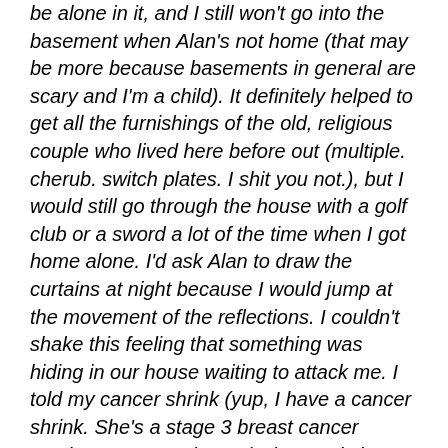be alone in it, and I still won't go into the basement when Alan's not home (that may be more because basements in general are scary and I'm a child). It definitely helped to get all the furnishings of the old, religious couple who lived here before out (multiple. cherub. switch plates. I shit you not.), but I would still go through the house with a golf club or a sword a lot of the time when I got home alone. I'd ask Alan to draw the curtains at night because I would jump at the movement of the reflections. I couldn't shake this feeling that something was hiding in our house waiting to attack me. I told my cancer shrink (yup, I have a cancer shrink. She's a stage 3 breast cancer survivor, 22 years in remission, and she rocks) and she made a very good point. "Of course you're scared there's something lurking in your house trying to kill you. There was something hiding in your body for 10 years that just tried to kill you." And just like that, Carol exploded my brain.